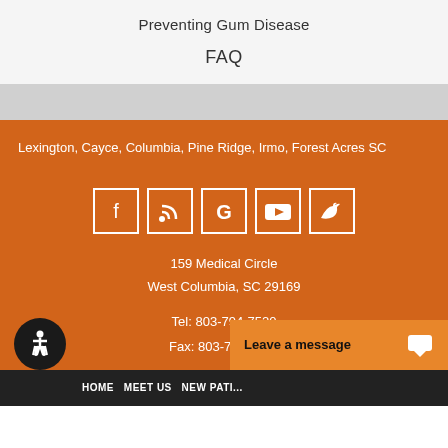Preventing Gum Disease
FAQ
Lexington, Cayce, Columbia, Pine Ridge, Irmo, Forest Acres SC
[Figure (infographic): Social media icon buttons in white squares on orange background: Facebook, RSS, Google, YouTube, Twitter]
159 Medical Circle
West Columbia, SC 29169
Tel: 803-794-7520
Fax: 803-794-7520
HOME   MEET US   NEW PATI...